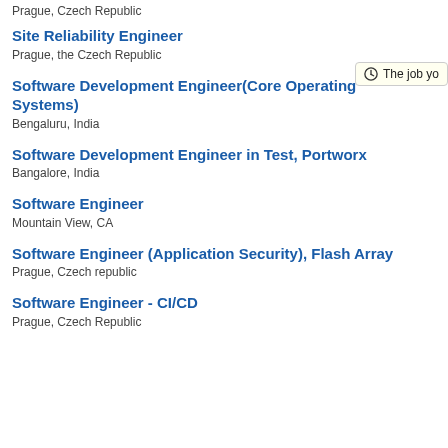Prague, Czech Republic
The job yo
Site Reliability Engineer
Prague, the Czech Republic
Software Development Engineer(Core Operating Systems)
Bengaluru, India
Software Development Engineer in Test, Portworx
Bangalore, India
Software Engineer
Mountain View, CA
Software Engineer (Application Security), Flash Array
Prague, Czech republic
Software Engineer - CI/CD
Prague, Czech Republic